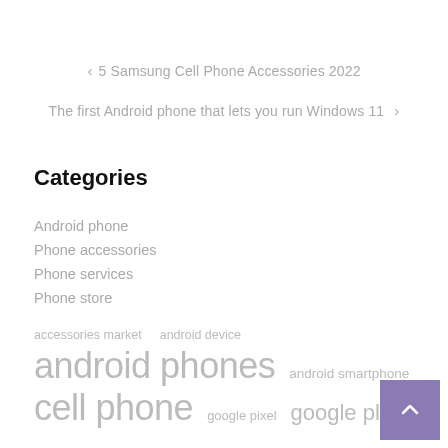< 5 Samsung Cell Phone Accessories 2022
The first Android phone that lets you run Windows 11 >
Categories
Android phone
Phone accessories
Phone services
Phone store
accessories market  android device  android phones  android smartphone  cell phone  google pixel  google play